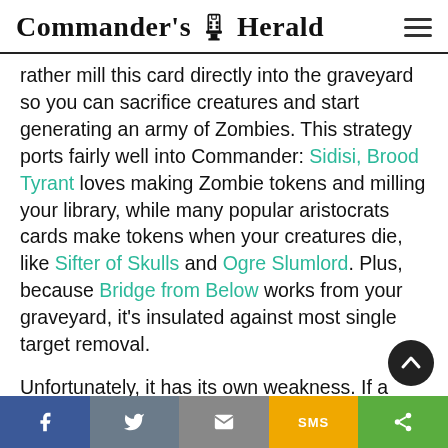Commander's Herald
rather mill this card directly into the graveyard so you can sacrifice creatures and start generating an army of Zombies. This strategy ports fairly well into Commander: Sidisi, Brood Tyrant loves making Zombie tokens and milling your library, while many popular aristocrats cards make tokens when your creatures die, like Sifter of Skulls and Ogre Slumlord. Plus, because Bridge from Below works from your graveyard, it's insulated against most single target removal.

Unfortunately, it has its own weakness. If a
Facebook | Twitter | Email | SMS | Share